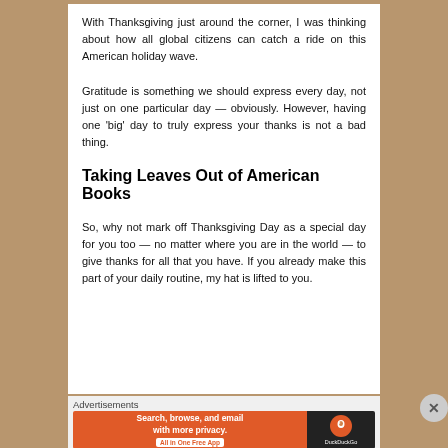With Thanksgiving just around the corner, I was thinking about how all global citizens can catch a ride on this American holiday wave.
Gratitude is something we should express every day, not just on one particular day — obviously. However, having one 'big' day to truly express your thanks is not a bad thing.
Taking Leaves Out of American Books
So, why not mark off Thanksgiving Day as a special day for you too — no matter where you are in the world — to give thanks for all that you have. If you already make this part of your daily routine, my hat is lifted to you.
[Figure (other): Advertisement banner for DuckDuckGo: 'Search, browse, and email with more privacy. All in One Free App' with DuckDuckGo logo on dark background.]